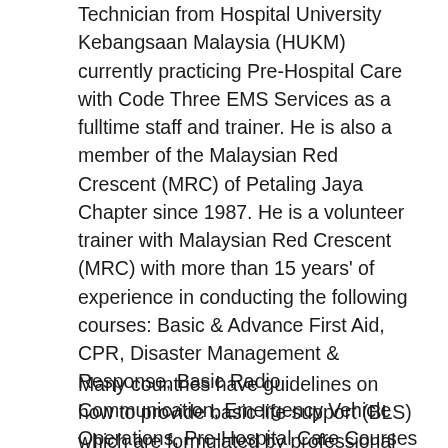Technician from Hospital University Kebangsaan Malaysia (HUKM) currently practicing Pre-Hospital Care with Code Three EMS Services as a fulltime staff and trainer. He is also a member of the Malaysian Red Crescent (MRC) of Petaling Jaya Chapter since 1987. He is a volunteer trainer with Malaysian Red Crescent (MRC) with more than 15 years' of experience in conducting the following courses: Basic & Advance First Aid, CPR, Disaster Management & Response, Basic Radio Communication, Emergency Vehicle Operations, Pre-Hospital Care Courses and Emergency Department Facilitator.
Many countries have guidelines on how to provide basic life support (BLS) which are formulated by professional medical bodies in those countries. The guidelines outline algorithms for the management of a number of conditions, such as cardiac arrest, choking and dro... BLS does not include the use of drugs or invasive skills,